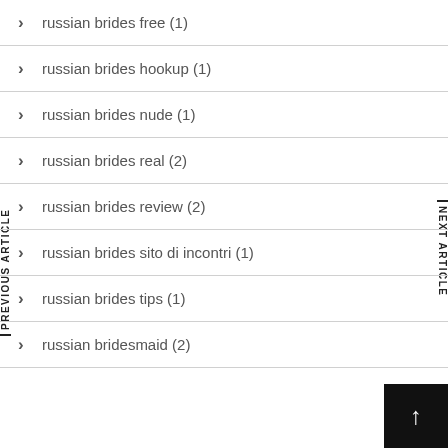russian brides free (1)
russian brides hookup (1)
russian brides nude (1)
russian brides real (2)
russian brides review (2)
russian brides sito di incontri (1)
russian brides tips (1)
russian bridesmaid (2)